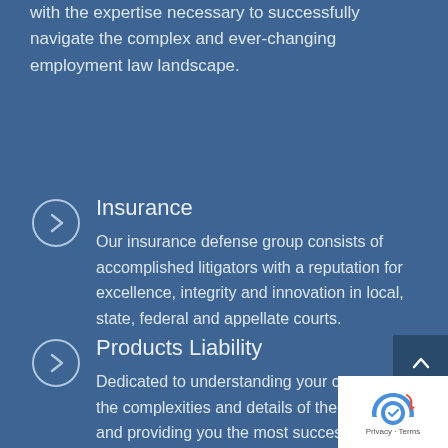with the expertise necessary to successfully navigate the complex and ever-changing employment law landscape.
Insurance
Our insurance defense group consists of accomplished litigators with a reputation for excellence, integrity and innovation in local, state, federal and appellate courts.
Products Liability
Dedicated to understanding your case, the complexities and details of the law, and providing you the most successful outcome through tough litigation.